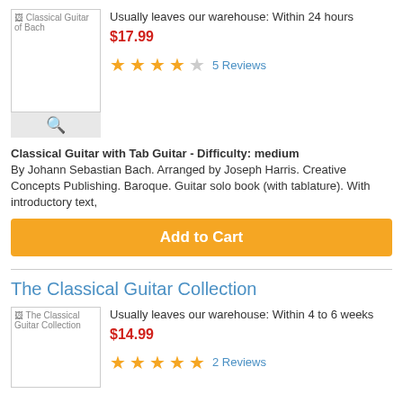[Figure (photo): Classical Guitar of Bach book cover thumbnail with broken image icon]
Usually leaves our warehouse: Within 24 hours
$17.99
★★★★☆ 5 Reviews
Classical Guitar with Tab Guitar - Difficulty: medium
By Johann Sebastian Bach. Arranged by Joseph Harris. Creative Concepts Publishing. Baroque. Guitar solo book (with tablature). With introductory text,
Add to Cart
The Classical Guitar Collection
[Figure (photo): The Classical Guitar Collection book cover thumbnail with broken image icon]
Usually leaves our warehouse: Within 4 to 6 weeks
$14.99
★★★★★ 2 Reviews